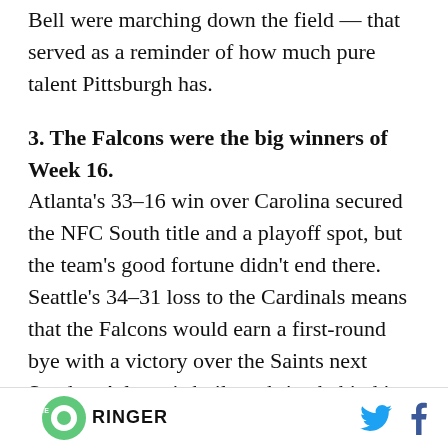Bell were marching down the field — that served as a reminder of how much pure talent Pittsburgh has.
3. The Falcons were the big winners of Week 16.
Atlanta's 33–16 win over Carolina secured the NFC South title and a playoff spot, but the team's good fortune didn't end there. Seattle's 34–31 loss to the Cardinals means that the Falcons would earn a first-round bye with a victory over the Saints next Sunday. Atlanta is built to thrive behind its high-flying offense, and the fear with a roster
THE RINGER